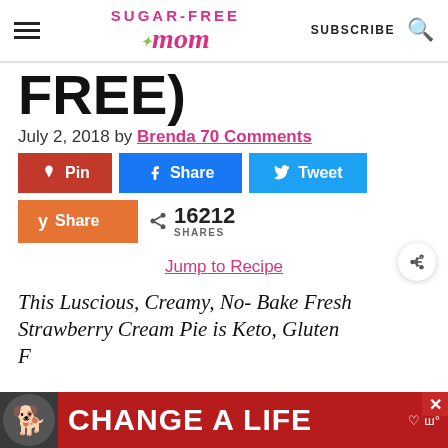Sugar-Free Mom | SUBSCRIBE
FREE)
July 2, 2018 by Brenda 70 Comments
[Figure (screenshot): Social sharing buttons: Pin (red), Share (Facebook blue), Tweet (Twitter blue), Share (Yummly orange); 16212 SHARES count]
Jump to Recipe
This Luscious, Creamy, No- Bake Fresh Strawberry Cream Pie is Keto, Gluten Free)
[Figure (infographic): Advertisement banner: dog image, CHANGE A LIFE text on red background]